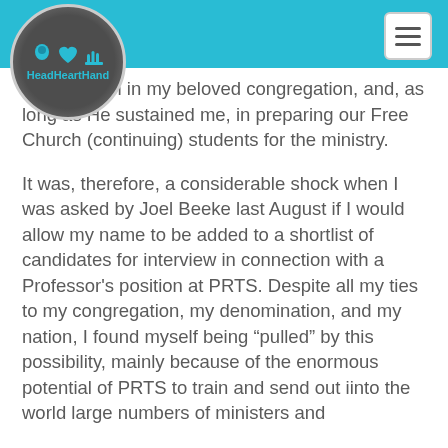[Figure (logo): HeadHeartHand logo circle with icons of head, heart, and hand in blue on dark background]
Le  g Him in my beloved congregation, and, as long as He sustained me, in preparing our Free Church (continuing) students for the ministry.
It was, therefore, a considerable shock when I was asked by Joel Beeke last August if I would allow my name to be added to a shortlist of candidates for interview in connection with a Professor's position at PRTS. Despite all my ties to my congregation, my denomination, and my nation, I found myself being “pulled” by this possibility, mainly because of the enormous potential of PRTS to train and send out iinto the world large numbers of ministers and